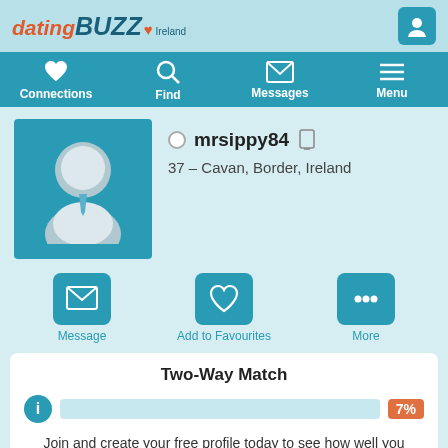datingBUZZ Ireland
[Figure (screenshot): Navigation bar with Connections, Find, Messages, Menu icons]
[Figure (photo): Default male avatar placeholder on teal background]
mrsippy84
37 – Cavan, Border, Ireland
[Figure (infographic): Action buttons: Message, Add to Favourites, More]
Two-Way Match
7%
Join and create your free profile today to see how well you match with him, and hundreds more.
Join now
Online: More than 6 months ago